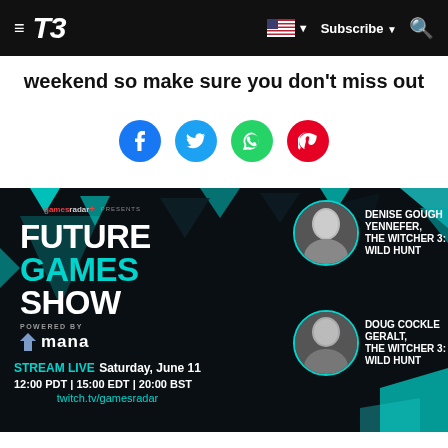T3 — Subscribe
weekend so make sure you don't miss out
[Figure (infographic): Social sharing icons: Facebook, Twitter, WhatsApp, Pinterest]
[Figure (infographic): Future Games Show promotional banner. GamesRadar+ Presents Future Games Show powered by mana. STREAM LIVE Saturday, June 11 12:00 PDT | 15:00 EDT | 20:00 BST twitch.tv/gamesradar. Featuring Denise Gough as Yennefer, The Witcher 3: Wild Hunt and Doug Cockle as Geralt, The Witcher 3: Wild Hunt.]